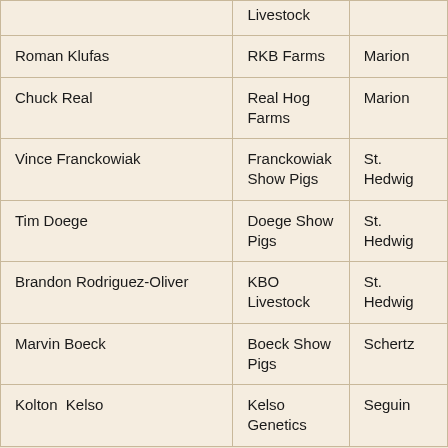| Name | Farm/Business | City |
| --- | --- | --- |
|  | Livestock |  |
| Roman Klufas | RKB Farms | Marion |
| Chuck Real | Real Hog Farms | Marion |
| Vince Franckowiak | Franckowiak Show Pigs | St. Hedwig |
| Tim Doege | Doege Show Pigs | St. Hedwig |
| Brandon Rodriguez-Oliver | KBO Livestock | St. Hedwig |
| Marvin Boeck | Boeck Show Pigs | Schertz |
| Kolton  Kelso | Kelso Genetics | Seguin |